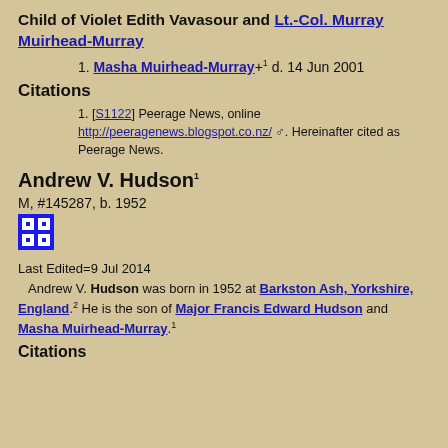Child of Violet Edith Vavasour and Lt.-Col. Murray Muirhead-Murray
1. Masha Muirhead-Murray+1 d. 14 Jun 2001
Citations
1. [S1122] Peerage News, online http://peeragenews.blogspot.co.nz/ . Hereinafter cited as Peerage News.
Andrew V. Hudson1
M, #145287, b. 1952
Last Edited=9 Jul 2014
Andrew V. Hudson was born in 1952 at Barkston Ash, Yorkshire, England.2 He is the son of Major Francis Edward Hudson and Masha Muirhead-Murray.1
Citations